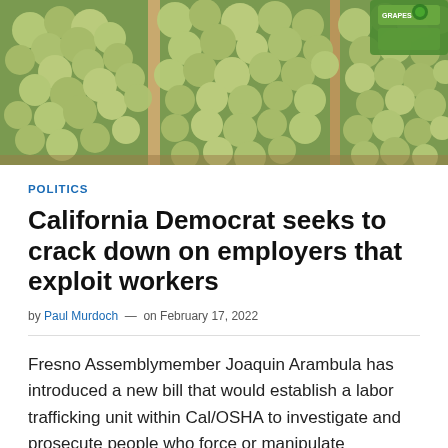[Figure (photo): Close-up photograph of green grapes in wooden crates, with green packaging visible in the upper right corner.]
POLITICS
California Democrat seeks to crack down on employers that exploit workers
by Paul Murdoch — on February 17, 2022
Fresno Assemblymember Joaquin Arambula has introduced a new bill that would establish a labor trafficking unit within Cal/OSHA to investigate and prosecute people who force or manipulate